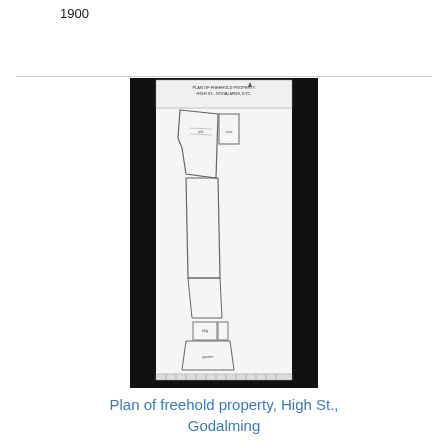1900
[Figure (schematic): A black and white scanned plan/survey drawing of a freehold property on High Street, Godalming. The image shows a vertical elongated strip of land with plot outlines, dimensions, and small annotations. The document has a decorative ruled border at the bottom typical of Victorian survey plans. The scan is mounted against a black background.]
Plan of freehold property, High St., Godalming